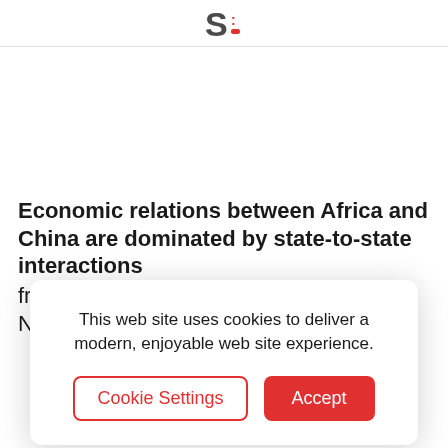S: (logo)
Economic relations between Africa and China are dominated by state-to-state interactions
from the private sectors of Europe and North America, and in combining experience on the
This web site uses cookies to deliver a modern, enjoyable web site experience.
Cookie Settings | Accept